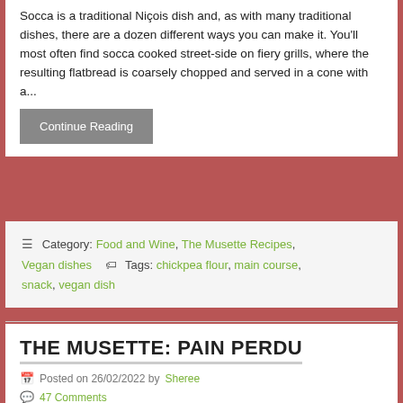Socca is a traditional Niçois dish and, as with many traditional dishes, there are a dozen different ways you can make it. You'll most often find socca cooked street-side on fiery grills, where the resulting flatbread is coarsely chopped and served in a cone with a...
Continue Reading
Category: Food and Wine, The Musette Recipes, Vegan dishes   Tags: chickpea flour, main course, snack, vegan dish
THE MUSETTE: PAIN PERDU
Posted on 26/02/2022 by Sheree
47 Comments